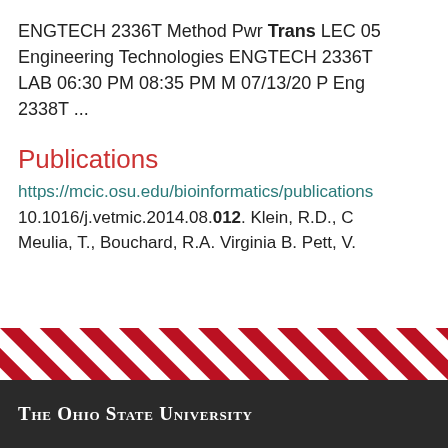ENGTECH 2336T Method Pwr Trans LEC 05 Engineering Technologies ENGTECH 2336T LAB 06:30 PM 08:35 PM M 07/13/20 P Eng 2338T ...
Publications
https://mcic.osu.edu/bioinformatics/publications 10.1016/j.vetmic.2014.08.012. Klein, R.D., C Meulia, T., Bouchard, R.A. Virginia B. Pett, V.
[Figure (other): Diagonal red and white stripe decorative bar]
The Ohio State University